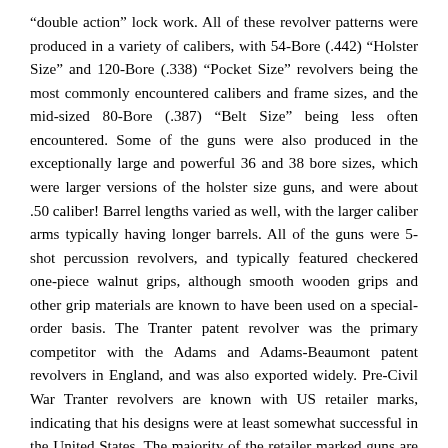“double action” lock work. All of these revolver patterns were produced in a variety of calibers, with 54-Bore (.442) “Holster Size” and 120-Bore (.338) “Pocket Size” revolvers being the most commonly encountered calibers and frame sizes, and the mid-sized 80-Bore (.387) “Belt Size” being less often encountered. Some of the guns were also produced in the exceptionally large and powerful 36 and 38 bore sizes, which were larger versions of the holster size guns, and were about .50 caliber! Barrel lengths varied as well, with the larger caliber arms typically having longer barrels. All of the guns were 5-shot percussion revolvers, and typically featured checkered one-piece walnut grips, although smooth wooden grips and other grip materials are known to have been used on a special-order basis. The Tranter patent revolver was the primary competitor with the Adams and Adams-Beaumont patent revolvers in England, and was also exported widely. Pre-Civil War Tranter revolvers are known with US retailer marks, indicating that his designs were at least somewhat successful in the United States. The majority of the retailer marked guns are from the south, with the largest majority of them being marked by New Orleans retailers. Based upon extant examples, the firm of Hyde & Goodrich (later Thomas, Griswold & Co) appears to have been the primary importer of Tranter Patent revolvers into the southern United States. Most of these retailer marked guns were sold cased.